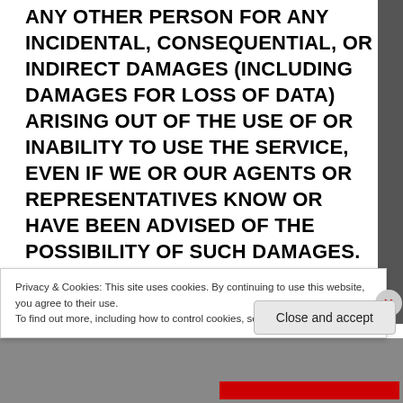ANY OTHER PERSON FOR ANY INCIDENTAL, CONSEQUENTIAL, OR INDIRECT DAMAGES (INCLUDING DAMAGES FOR LOSS OF DATA) ARISING OUT OF THE USE OF OR INABILITY TO USE THE SERVICE, EVEN IF WE OR OUR AGENTS OR REPRESENTATIVES KNOW OR HAVE BEEN ADVISED OF THE POSSIBILITY OF SUCH DAMAGES. OUR AGGREGATE LIABILITY TO YOU ARISING FROM OR RELATED TO THIS AGREEMENT AND YOUR USE OF THE SERVICE, REGARDLESS OF THE FORM OF THE ACTION, WILL BE LIMITED TO THE AMOUNT PAID, IF ANY, BY YOU TO US FOR THE SERVICE OR $100, WHICHEVER IS GREATER. WE DO NOT CONDUCT BACKGROUND CHECKS OR OTHERWISE SCREEN
Privacy & Cookies: This site uses cookies. By continuing to use this website, you agree to their use.
To find out more, including how to control cookies, see here: Cookie Policy
Close and accept